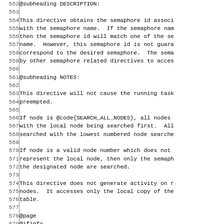552 @subheading DESCRIPTION:
553
554 This directive obtains the semaphore id associ
555 with the semaphore name.  If the semaphore nam
556 then the semaphore id will match one of the se
557 name.  However, this semaphore id is not guara
558 correspond to the desired semaphore.  The sema
559 by other semaphore related directives to acces
560
561 @subheading NOTES:
562
563 This directive will not cause the running task
564 preempted.
565
566 If node is @code{SEARCH_ALL_NODES}, all nodes
567 with the local node being searched first.  All
568 searched with the lowest numbered node searche
569
570 If node is a valid node number which does not
571 represent the local node, then only the semaph
572 the designated node are searched.
573
574 This directive does not generate activity on r
575 nodes.  It accesses only the local copy of the
576 table.
577
578 @page
579 @ifinfo
580 @node SEMAPHORE_DELETE - Delete a semaphore, S
581 @end ifinfo